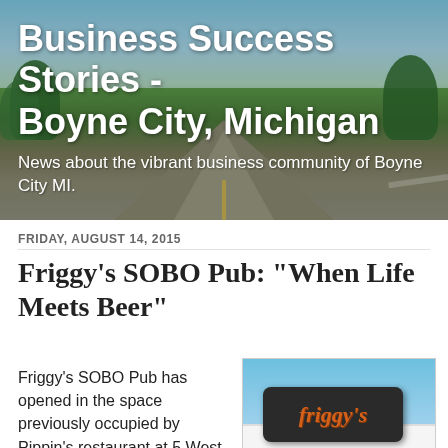[Figure (photo): Header banner photo of a road stretching into the distance with trees and blue sky, used as background for the blog header.]
Business Success Stories - Boyne City, Michigan
News about the vibrant business community of Boyne City MI.
FRIDAY, AUGUST 14, 2015
Friggy's SOBO Pub: "When Life Meets Beer"
Friggy's SOBO Pub has opened in the space previously occupied by Pippin's restaurant at 5 West Main Street. Friggy's is owned by Jeff and Deb Leppala of Crystal Falls, but
[Figure (photo): Photo of the Friggy's sign on the exterior of a white building, with a blue sky in the background and a person visible at the bottom right.]